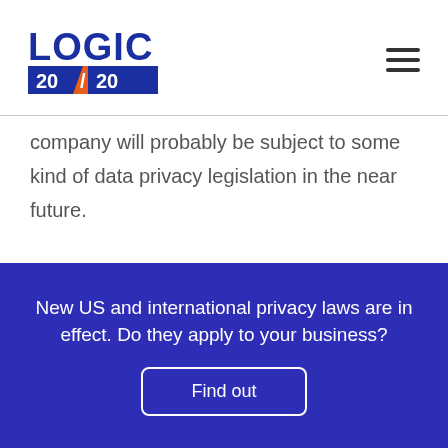[Figure (logo): Logic 20/20 company logo with blue LOGIC text and blue/orange 20/20 banner]
company will probably be subject to some kind of data privacy legislation in the near future. Businesses also cannot rely solely on geographics to determine whether data privacy laws apply to them. Any
New US and international privacy laws are in effect. Do they apply to your business?
Find out